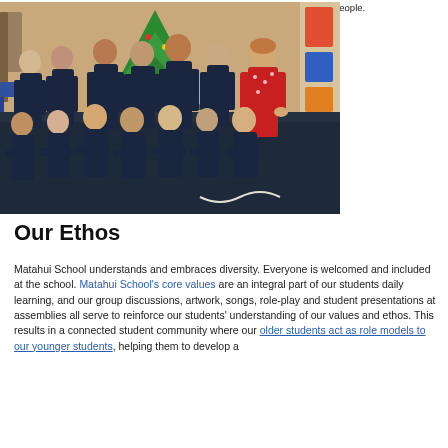people.
[Figure (photo): A group photo of approximately 12 primary school students in dark navy uniforms seated and standing in rows on a blue carpet floor in a classroom, with a teacher in a red dress standing behind them. A decorative Christmas tree made of paper is visible on the wall behind them.]
Our Ethos
Matahui School understands and embraces diversity. Everyone is welcomed and included at the school. Matahui School's core values are an integral part of our students daily learning, and our group discussions, artwork, songs, role-play and student presentations at assemblies all serve to reinforce our students' understanding of our values and ethos. This results in a connected student community where our older students act as role models to our younger students, helping them to develop a